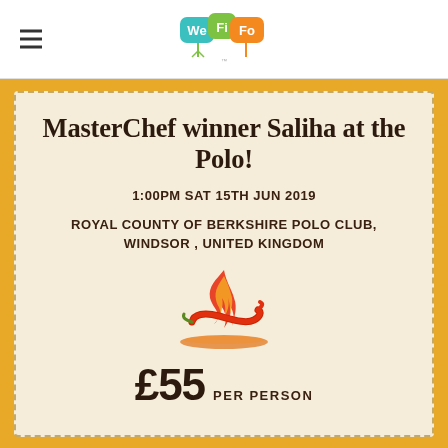WeFiFo logo with hamburger menu
MasterChef winner Saliha at the Polo!
1:00PM SAT 15TH JUN 2019
ROYAL COUNTY OF BERKSHIRE POLO CLUB, WINDSOR , UNITED KINGDOM
[Figure (illustration): Hot chili pepper with flame icon illustration]
£55 PER PERSON